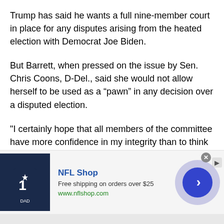Trump has said he wants a full nine-member court in place for any disputes arising from the heated election with Democrat Joe Biden.
But Barrett, when pressed on the issue by Sen. Chris Coons, D-Del., said she would not allow herself to be used as a “pawn” in any decision over a disputed election.
"I certainly hope that all members of the committee have more confidence in my integrity than to think that I would allow myself to be used as a pawn to decide this election for the American people," Barrett said.
[Figure (other): NFL Shop advertisement banner with jersey image, NFL Shop title, free shipping offer, URL www.nflshop.com, and a blue circular arrow button]